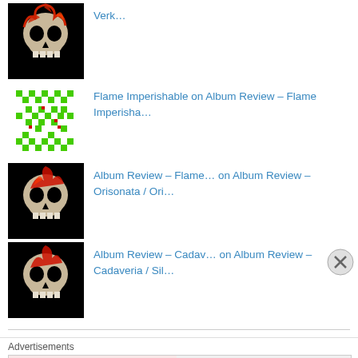Verk…
Flame Imperishable on Album Review – Flame Imperisha…
Album Review – Flame… on Album Review – Orisonata / Ori…
Album Review – Cadav… on Album Review – Cadaveria / Sil…
Select Language (dropdown) Powered by Google Translate
Advertisements
[Figure (infographic): MAC cosmetics advertisement banner showing lipsticks in purple, pink, and red with MAC logo and SHOP NOW button]
Support The Headbang…